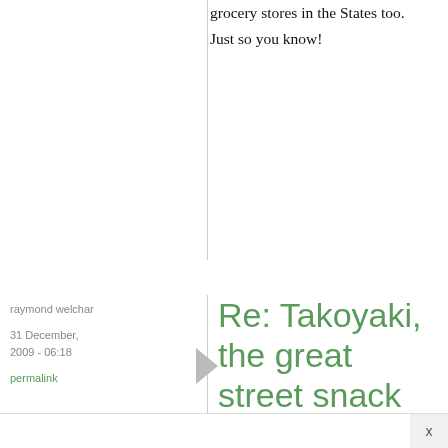grocery stores in the States too. Just so you know!
raymond welchar
31 December, 2009 - 06:18
permalink
Re: Takoyaki, the great street snack that's fun to make